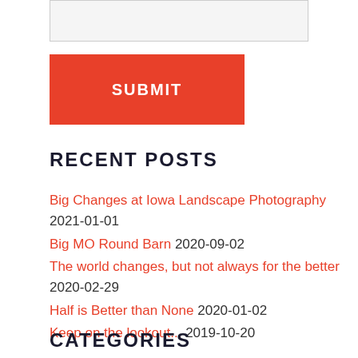[Figure (other): A light grey input text box with border]
[Figure (other): A red SUBMIT button with white bold uppercase text]
RECENT POSTS
Big Changes at Iowa Landscape Photography 2021-01-01
Big MO Round Barn 2020-09-02
The world changes, but not always for the better 2020-02-29
Half is Better than None 2020-01-02
Keep on the lookout... 2019-10-20
CATEGORIES